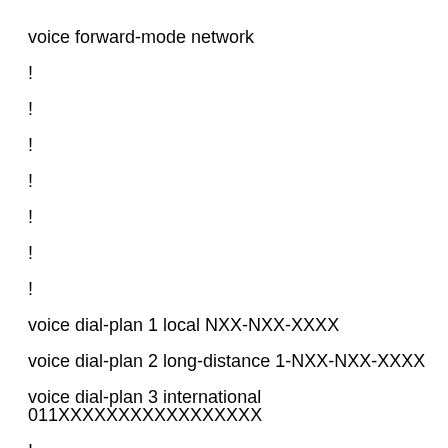voice forward-mode network
!
!
!
!
!
!
!
voice dial-plan 1 local NXX-NXX-XXXX
voice dial-plan 2 long-distance 1-NXX-NXX-XXXX
voice dial-plan 3 international 011XXXXXXXXXXXXXXXXX
!